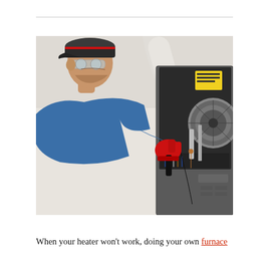[Figure (photo): A technician wearing a blue shirt, dark baseball cap, safety glasses, and red work gloves inspecting the interior components of an open furnace or heating unit mounted on a wall. The furnace interior shows mechanical components including a blower fan, wiring, and a yellow label. The background is light/white.]
When your heater won't work, doing your own furnace